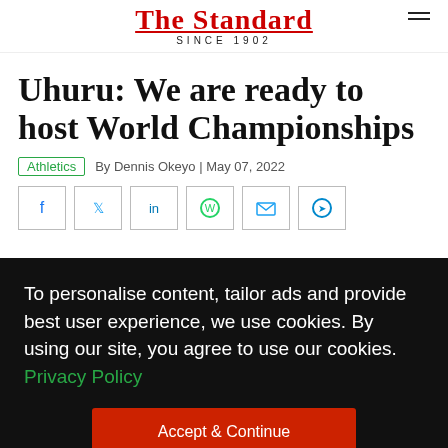The Standard | SINCE 1902
Uhuru: We are ready to host World Championships
Athletics | By Dennis Okeyo | May 07, 2022
[Figure (other): Social share icons: Facebook, Twitter, LinkedIn, WhatsApp, Email, Telegram]
To personalise content, tailor ads and provide best user experience, we use cookies. By using our site, you agree to use our cookies. Privacy Policy
Accept & Continue